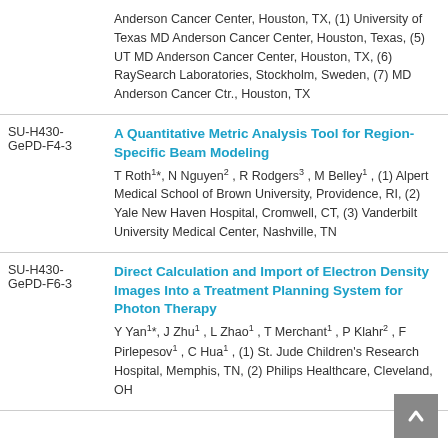Anderson Cancer Center, Houston, TX, (1) University of Texas MD Anderson Cancer Center, Houston, Texas, (5) UT MD Anderson Cancer Center, Houston, TX, (6) RaySearch Laboratories, Stockholm, Sweden, (7) MD Anderson Cancer Ctr., Houston, TX
A Quantitative Metric Analysis Tool for Region-Specific Beam Modeling
T Roth1*, N Nguyen2 , R Rodgers3 , M Belley1 , (1) Alpert Medical School of Brown University, Providence, RI, (2) Yale New Haven Hospital, Cromwell, CT, (3) Vanderbilt University Medical Center, Nashville, TN
Direct Calculation and Import of Electron Density Images Into a Treatment Planning System for Photon Therapy
Y Yan1*, J Zhu1 , L Zhao1 , T Merchant1 , P Klahr2 , F Pirlepesov1 , C Hua1 , (1) St. Jude Children's Research Hospital, Memphis, TN, (2) Philips Healthcare, Cleveland, OH